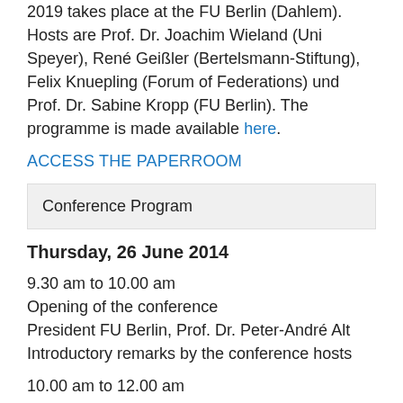2019 takes place at the FU Berlin (Dahlem). Hosts are Prof. Dr. Joachim Wieland (Uni Speyer), René Geißler (Bertelsmann-Stiftung), Felix Knuepling (Forum of Federations) und Prof. Dr. Sabine Kropp (FU Berlin). The programme is made available here.
ACCESS THE PAPERROOM
Conference Program
Thursday, 26 June 2014
9.30 am to 10.00 am
Opening of the conference
President FU Berlin, Prof. Dr. Peter-André Alt
Introductory remarks by the conference hosts
10.00 am to 12.00 am
Panel 1: Legal, political and economic aspects of the reform
Criteria for reforming the fiscal equalization scheme